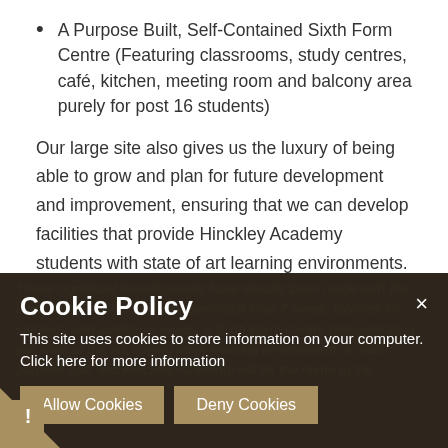A Purpose Built, Self-Contained Sixth Form Centre (Featuring classrooms, study centres, café, kitchen, meeting room and balcony area purely for post 16 students)
Our large site also gives us the luxury of being able to grow and plan for future development and improvement, ensuring that we can develop facilities that provide Hinckley Academy students with state of art learning environments.
[Figure (screenshot): Cookie Policy overlay on dark background section of webpage. Title reads 'Cookie Policy'. Body text: 'This site uses cookies to store information on your computer. Click here for more information'. Two buttons: 'Allow Cookies' and 'Deny Cookies'. Close button (×) top right. Exclamation mark icon bottom left on gold background.]